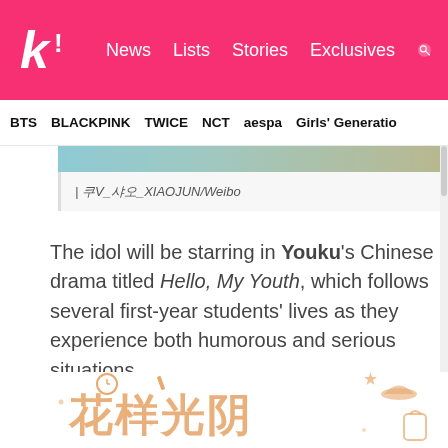k! News  Lists  Stories  Exclusives
BTS  BLACKPINK  TWICE  NCT  aespa  Girls' Generation
| 쿠V_샤오_XIAOJUN/Weibo
The idol will be starring in Youku's Chinese drama titled Hello, My Youth, which follows several first-year students' lives as they experience both humorous and serious situations.
[Figure (illustration): Chinese text illustration with decorative orange characters reading Hello My Youth (花样光阴) with small icons like clock, pencil, hat, star, backpack around the text]